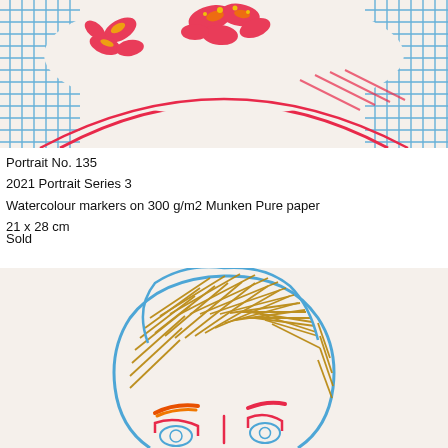[Figure (illustration): Top portion of a colourful watercolour marker portrait showing a figure wearing a wide-brimmed hat decorated with red and orange floral/leaf motifs, set against a blue crosshatch-patterned background with red and striped accents.]
Portrait No. 135
2021 Portrait Series 3
Watercolour markers on 300 g/m2 Munken Pure paper
21 x 28 cm
Sold
[Figure (illustration): Bottom portion of a colourful watercolour marker portrait showing the top of a person's head with golden-brown wavy hair drawn in hatching strokes outlined in blue, with orange and red eyebrows and simple blue eyes visible near the bottom.]